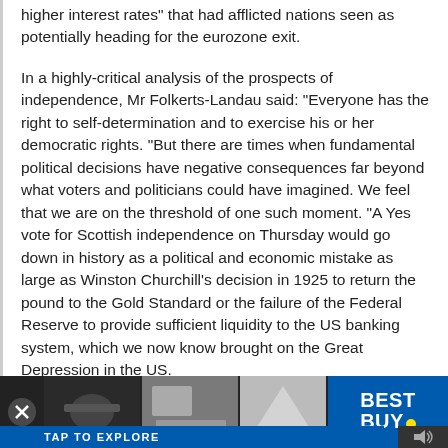higher interest rates" that had afflicted nations seen as potentially heading for the eurozone exit.
In a highly-critical analysis of the prospects of independence, Mr Folkerts-Landau said: "Everyone has the right to self-determination and to exercise his or her democratic rights. "But there are times when fundamental political decisions have negative consequences far beyond what voters and politicians could have imagined. We feel that we are on the threshold of one such moment. "A Yes vote for Scottish independence on Thursday would go down in history as a political and economic mistake as large as Winston Churchill’s decision in 1925 to return the pound to the Gold Standard or the failure of the Federal Reserve to provide sufficient liquidity to the US banking system, which we now know brought on the Great Depression in the US.
http://www.heraldscotland.com/politics/referendum-news/deutsche-bank-boss-compared-yes-vote-to-blunders-that-led-to-great-depressi.1410553551
[Figure (screenshot): Advertisement banner at the bottom of the page showing a Best Buy advertisement with multiple thumbnail images and 'TAP TO EXPLORE' call to action.]